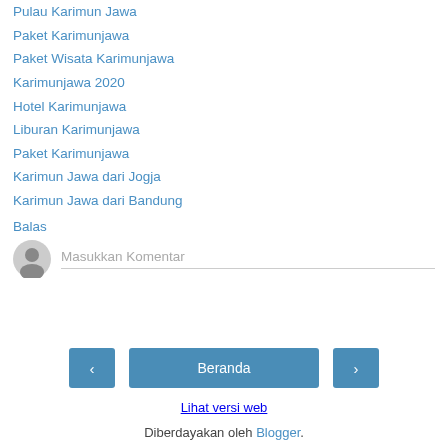Pulau Karimun Jawa
Paket Karimunjawa
Paket Wisata Karimunjawa
Karimunjawa 2020
Hotel Karimunjawa
Liburan Karimunjawa
Paket Karimunjawa
Karimun Jawa dari Jogja
Karimun Jawa dari Bandung
Balas
Masukkan Komentar
‹
Beranda
›
Lihat versi web
Diberdayakan oleh Blogger.